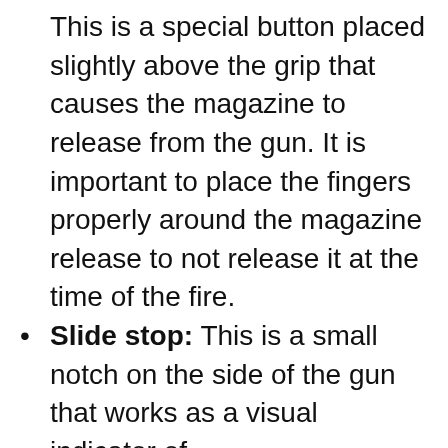This is a special button placed slightly above the grip that causes the magazine to release from the gun. It is important to place the fingers properly around the magazine release to not release it at the time of the fire.
Slide stop: This is a small notch on the side of the gun that works as a visual indicator of